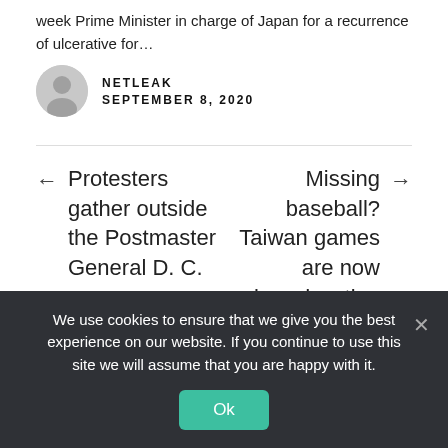week Prime Minister in charge of Japan for a recurrence of ulcerative for…
NETLEAK
SEPTEMBER 8, 2020
← Protesters gather outside the Postmaster General D. C.
Missing baseball? Taiwan games are now broadcasting in English. Here's →
We use cookies to ensure that we give you the best experience on our website. If you continue to use this site we will assume that you are happy with it.